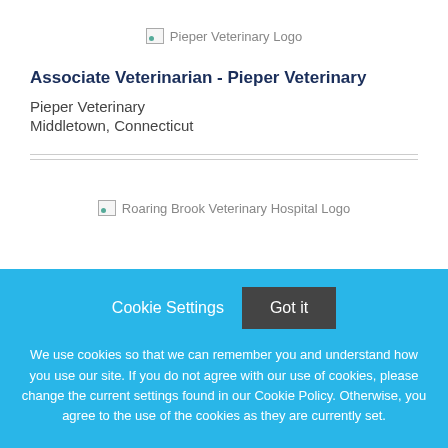[Figure (logo): Pieper Veterinary Logo placeholder image]
Associate Veterinarian - Pieper Veterinary
Pieper Veterinary
Middletown, Connecticut
[Figure (logo): Roaring Brook Veterinary Hospital Logo placeholder image]
Cookie Settings   Got it

We use cookies so that we can remember you and understand how you use our site. If you do not agree with our use of cookies, please change the current settings found in our Cookie Policy. Otherwise, you agree to the use of the cookies as they are currently set.